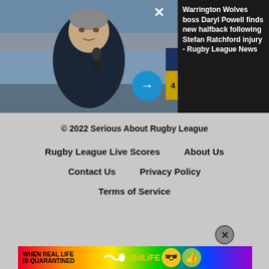[Figure (photo): Man in dark jacket holding a microphone at a rugby stadium, being interviewed outdoors]
Warrington Wolves boss Daryl Powell finds new halfback following Stefan Ratchford injury - Rugby League News
© 2022 Serious About Rugby League
Rugby League Live Scores
About Us
Contact Us
Privacy Policy
Terms of Service
[Figure (advertisement): BitLife game advertisement with rainbow background and text WHEN REAL LIFE IS QUARANTINED]